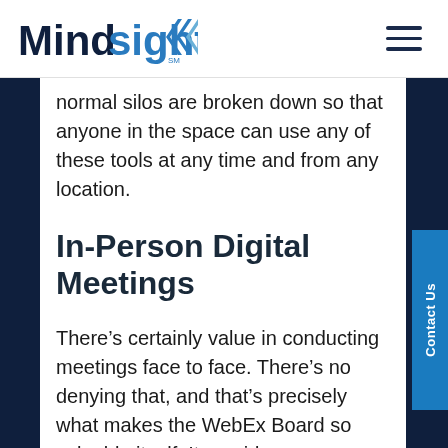Mindsight
normal silos are broken down so that anyone in the space can use any of these tools at any time and from any location.
In-Person Digital Meetings
There’s certainly value in conducting meetings face to face. There’s no denying that, and that’s precisely what makes the WebEx Board so valuable itself. It provides a